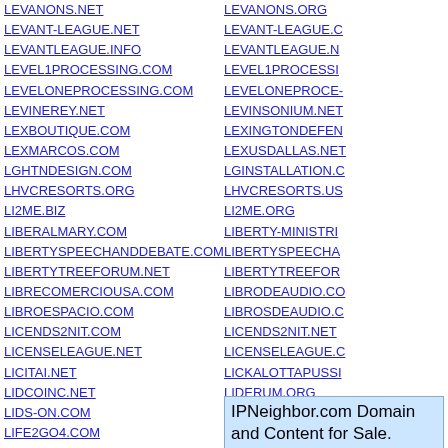Left column domain list: LEVANONS.NET, LEVANT-LEAGUE.NET, LEVANTLEAGUE.INFO, LEVEL1PROCESSING.COM, LEVELONEPROCESSING.COM, LEVINEREY.NET, LEXBOUTIQUE.COM, LEXMARCOS.COM, LGHTNDESIGN.COM, LHVCRESORTS.ORG, LI2ME.BIZ, LIBERALMARY.COM, LIBERTYSPEECHANDDEBATE.COM, LIBERTYTREEFORUM.NET, LIBRECOMERCIOUSA.COM, LIBROESPACIO.COM, LICENDS2NIT.COM, LICENSELEAGUE.NET, LICITAI.NET, LIDCOINC.NET, LIDS-ON.COM, LIFE2GO4.COM, LIFE4RILEY.ORG, LIFECASEPRO.COM, LIFECOOLERDESCONTOS.COM, LIFEHOUSEINDONESIA.COM, LIFEHOUSEUTAH.COM, LIFEIMPROVEMENTCOLLABORATIVE.NET
Right column domain list: LEVANONS.ORG, LEVANT-LEAGUE.CO, LEVANTLEAGUE.N, LEVEL1PROCESSING, LEVELONEPROCESING, LEVINSONIUM.NET, LEXINGTONDEFEN, LEXUSDALLAS.NET, LGINSTALLATION.CO, LHVCRESORTS.US, LI2ME.ORG, LIBERTY-MINISTRIN, LIBERTYSPEECHA, LIBERTYTREEFOR, LIBRODEAUDIO.CO, LIBROSDEAUDIO.CO, LICENDS2NIT.NET, LICENSELEAGUE.CO, LICKALOTTAPUSSI, LIDERUM.ORG, LIEBER-LESEN.CO, LIFE4RILEY.COM, LIFE5D.COM
IPNeighbor.com Domain and Content for Sale. Make Offer. Click Here for Info